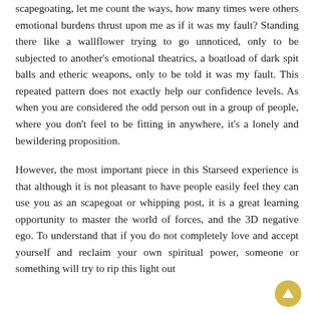scapegoating, let me count the ways, how many times were others emotional burdens thrust upon me as if it was my fault? Standing there like a wallflower trying to go unnoticed, only to be subjected to another's emotional theatrics, a boatload of dark spit balls and etheric weapons, only to be told it was my fault. This repeated pattern does not exactly help our confidence levels. As when you are considered the odd person out in a group of people, where you don't feel to be fitting in anywhere, it's a lonely and bewildering proposition.
However, the most important piece in this Starseed experience is that although it is not pleasant to have people easily feel they can use you as an scapegoat or whipping post, it is a great learning opportunity to master the world of forces, and the 3D negative ego. To understand that if you do not completely love and accept yourself and reclaim your own spiritual power, someone or something will try to rip this light out